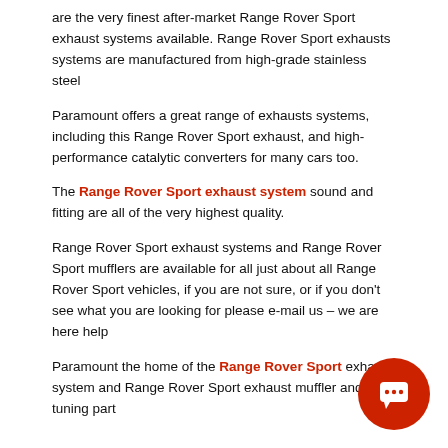are the very finest after-market Range Rover Sport exhaust systems available. Range Rover Sport exhausts systems are manufactured from high-grade stainless steel
Paramount offers a great range of exhausts systems, including this Range Rover Sport exhaust, and high-performance catalytic converters for many cars too.
The Range Rover Sport exhaust system sound and fitting are all of the very highest quality.
Range Rover Sport exhaust systems and Range Rover Sport mufflers are available for all just about all Range Rover Sport vehicles, if you are not sure, or if you don't see what you are looking for please e-mail us – we are here help
Paramount the home of the Range Rover Sport exhaust system and Range Rover Sport exhaust muffler and tuning part
[Figure (other): Red circular chat button with speech bubble icon in bottom-right corner]